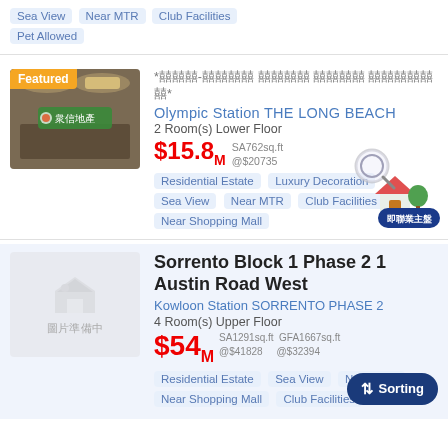Sea View  Near MTR  Club Facilities  Pet Allowed
*囍囍囍-囍囍囍囍 囍囍囍囍 囍囍囍囍 囍囍囍囍囍囍*
Olympic Station THE LONG BEACH
2 Room(s) Lower Floor
$15.8M SA762sq.ft @$20735
Residential Estate  Luxury Decoration  Sea View  Near MTR  Club Facilities  Near Shopping Mall
Sorrento Block 1 Phase 2 1 Austin Road West
Kowloon Station SORRENTO PHASE 2
4 Room(s) Upper Floor
$54M SA1291sq.ft GFA1667sq.ft @$41828 @$32394
Residential Estate  Sea View  Near MTR  Near Shopping Mall  Club Facilities